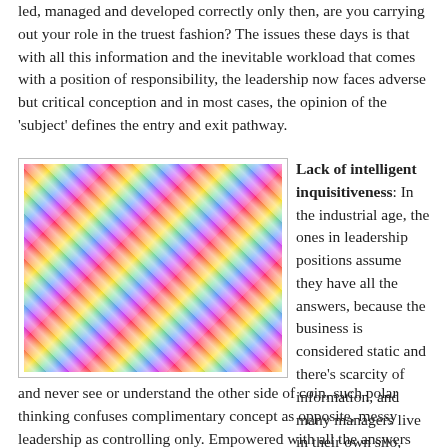led, managed and developed correctly only then, are you carrying out your role in the truest fashion? The issues these days is that with all this information and the inevitable workload that comes with a position of responsibility, the leadership now faces adverse but critical conception and in most cases, the opinion of the 'subject' defines the entry and exit pathway.
[Figure (photo): Abstract colorful diagonal light streaks in red, yellow, green, blue, and purple on dark background]
Lack of intelligent inquisitiveness: In the industrial age, the ones in leadership positions assume they have all the answers, because the business is considered static and there's scarcity of information, and many managers live in their own silo, and never see or understand the other side of coin, such polar thinking confuses complimentary concept as opposite, messy leadership as controlling only. Empowered with all the answers make you feel more like a leader; however, at the digital age with the information overload, facing the right questions is...